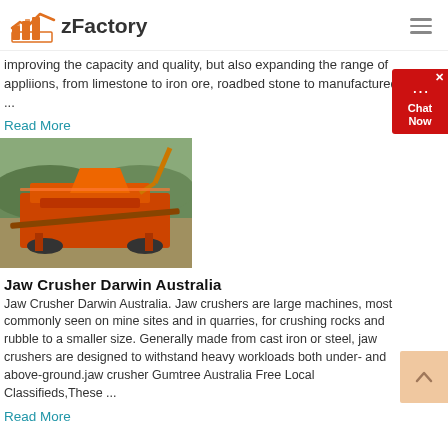zFactory
improving the capacity and quality, but also expanding the range of appliions, from limestone to iron ore, roadbed stone to manufactured sand ...
Read More
[Figure (photo): Orange jaw crusher machine at a quarry site with excavator in background]
Jaw Crusher Darwin Australia
Jaw Crusher Darwin Australia. Jaw crushers are large machines, most commonly seen on mine sites and in quarries, for crushing rocks and rubble to a smaller size. Generally made from cast iron or steel, jaw crushers are designed to withstand heavy workloads both under- and above-ground.jaw crusher Gumtree Australia Free Local Classifieds,These ...
Read More